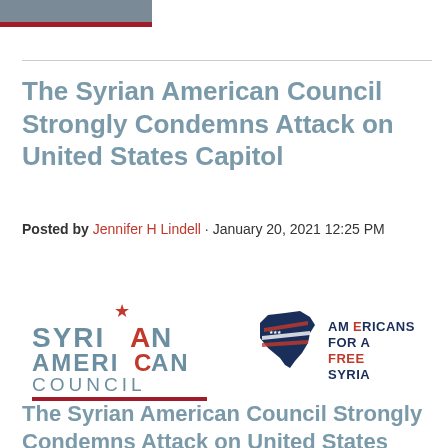The Syrian American Council Strongly Condemns Attack on United States Capitol
Posted by Jennifer H Lindell · January 20, 2021 12:25 PM
[Figure (logo): Syrian American Council logo and Americans for a Free Syria logo side by side]
The Syrian American Council Strongly Condemns Attack on United States Capitol